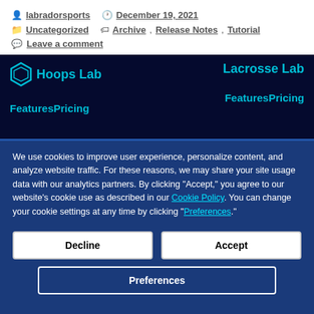labradorsports  December 19, 2021
Uncategorized  Archive, Release Notes, Tutorial
Leave a comment
[Figure (screenshot): Website navigation bar with dark navy background showing Hoops Lab (left) and Lacrosse Lab (right) with FeaturesPricing links below each]
We use cookies to improve user experience, personalize content, and analyze website traffic. For these reasons, we may share your site usage data with our analytics partners. By clicking "Accept," you agree to our website's cookie use as described in our Cookie Policy. You can change your cookie settings at any time by clicking "Preferences."
Decline  Accept  Preferences